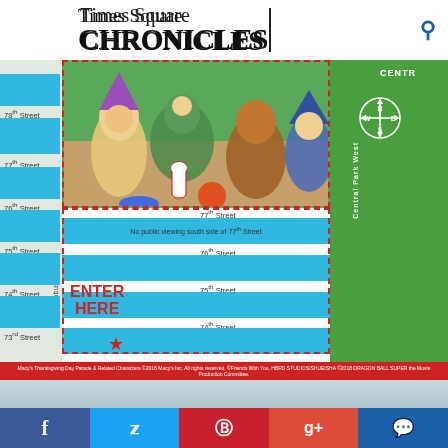Times Square CHRONICLES
[Figure (map): Macy's Thanksgiving Day Parade route map showing streets from 73rd to 78th Street between Columbus Avenue and Central Park West, with cartoon characters illustration, dashed boundary, Enter Here marker, compass rose, and colored street blocks.]
Macy's Thanksgiving Day Parade & Related Characters ©2018 Macy's Inc. All rights reserved. ©Frands With You, HBRD STUDIOS/SHUIESHA ©2018 DRAGON BALL SUPER the Movie Production Committee.